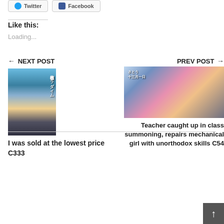Twitter  Facebook
Like this:
Loading...
← NEXT POST
PREV POST →
[Figure (illustration): Anime manga cover image for 'I was sold at the lowest price C333']
[Figure (illustration): Anime manga cover image for 'Teacher caught up in class summoning, repairs mechanical girl with unorthodox skills C54']
I was sold at the lowest price C333
Teacher caught up in class summoning, repairs mechanical girl with unorthodox skills C54